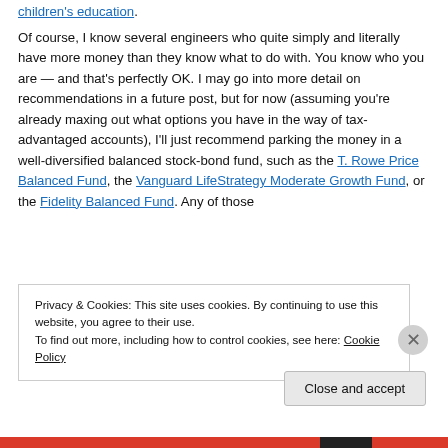children's education.
Of course, I know several engineers who quite simply and literally have more money than they know what to do with. You know who you are — and that's perfectly OK. I may go into more detail on recommendations in a future post, but for now (assuming you're already maxing out what options you have in the way of tax-advantaged accounts), I'll just recommend parking the money in a well-diversified balanced stock-bond fund, such as the T. Rowe Price Balanced Fund, the Vanguard LifeStrategy Moderate Growth Fund, or the Fidelity Balanced Fund. Any of those
Privacy & Cookies: This site uses cookies. By continuing to use this website, you agree to their use.
To find out more, including how to control cookies, see here: Cookie Policy